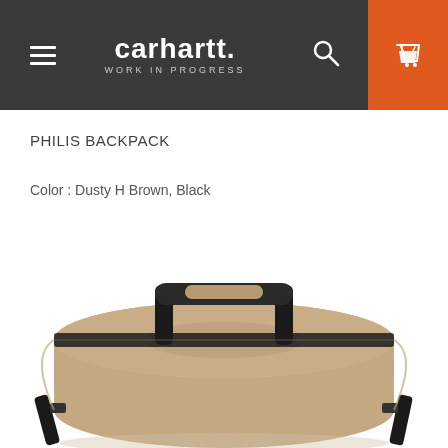[Figure (screenshot): Carhartt WIP website navigation bar with hamburger menu, Carhartt Work In Progress logo, search icon, and orange shopping cart icon]
PHILIS BACKPACK
Color : Dusty H Brown, Black
[Figure (photo): Carhartt Philis Backpack in Dusty H Brown and Black colorway, shown from front/top angle, featuring black handles and straps on a tan/brown canvas body]